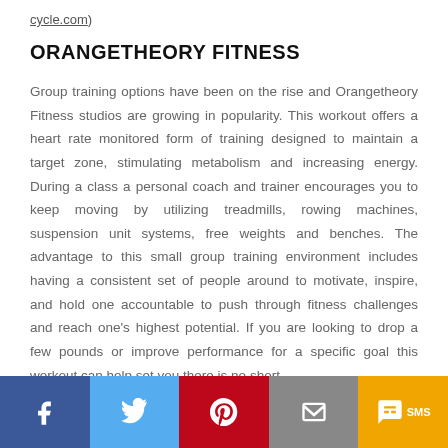cycle.com)
ORANGETHEORY FITNESS
Group training options have been on the rise and Orangetheory Fitness studios are growing in popularity. This workout offers a heart rate monitored form of training designed to maintain a target zone, stimulating metabolism and increasing energy. During a class a personal coach and trainer encourages you to keep moving by utilizing treadmills, rowing machines, suspension unit systems, free weights and benches. The advantage to this small group training environment includes having a consistent set of people around to motivate, inspire, and hold one accountable to push through fitness challenges and reach one’s highest potential. If you are looking to drop a few pounds or improve performance for a specific goal this workout can help set you there is no short
f | Twitter | Pinterest | Email | SMS